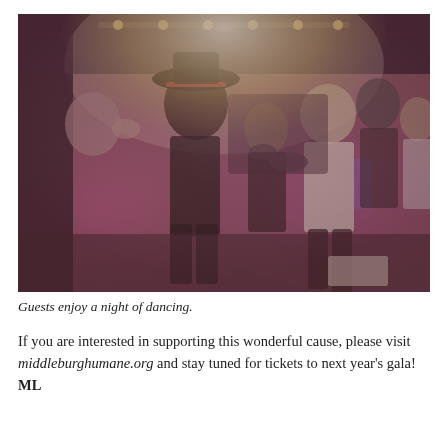[Figure (photo): People dancing at an event with stage lighting. A person wearing a black wide-brimmed hat with a red band is in the foreground, others dance around them, and a band plays in the background under pink/purple stage lights.]
Guests enjoy a night of dancing.
If you are interested in supporting this wonderful cause, please visit middleburghumane.org and stay tuned for tickets to next year's gala! ML